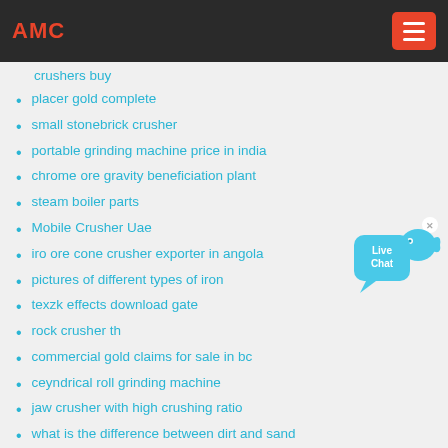AMC
crushers buy
placer gold complete
small stonebrick crusher
portable grinding machine price in india
chrome ore gravity beneficiation plant
steam boiler parts
Mobile Crusher Uae
iro ore cone crusher exporter in angola
pictures of different types of iron
texzk effects download gate
rock crusher th
commercial gold claims for sale in bc
ceyndrical roll grinding machine
jaw crusher with high crushing ratio
what is the difference between dirt and sand
mounted jaw crusher xuzhenybiaoti foot size jaw crusher mounted foot size
16U Baseball Tournaments Near Me